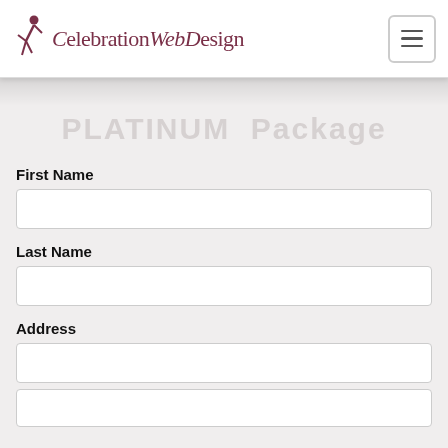CelebrationWebDesign
PLATINUM Package
First Name
Last Name
Address